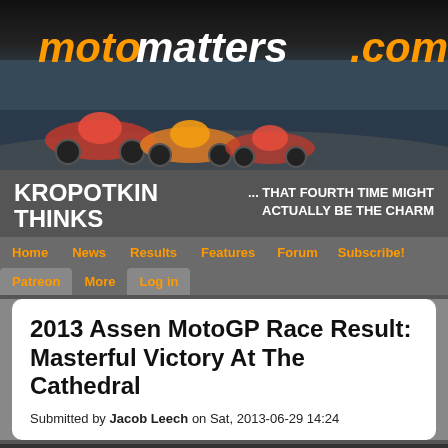[Figure (screenshot): motomatters.com website header banner with logo text 'motomatters.com' in orange and white italic font, with motorcycle racing photo below showing riders on track]
KROPOTKIN THINKS
... THAT FOURTH TIME MIGHT ACTUALLY BE THE CHARM
Home  News  Results  Features  Forum  Subscribe!  Patreon  More  Log in
2013 Assen MotoGP Race Result: Masterful Victory At The Cathedral
Submitted by Jacob Leech on Sat, 2013-06-29 14:24
We use cookies on this site to enhance your user experience
By clicking any link on this page you are giving your consent for us to set cookies. No, give me more info